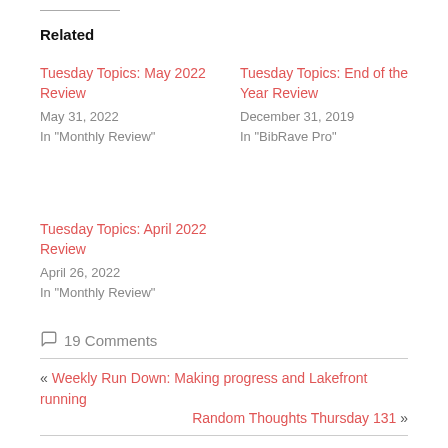Related
Tuesday Topics: May 2022 Review
May 31, 2022
In "Monthly Review"
Tuesday Topics: End of the Year Review
December 31, 2019
In "BibRave Pro"
Tuesday Topics: April 2022 Review
April 26, 2022
In "Monthly Review"
19 Comments
« Weekly Run Down: Making progress and Lakefront running
Random Thoughts Thursday 131 »